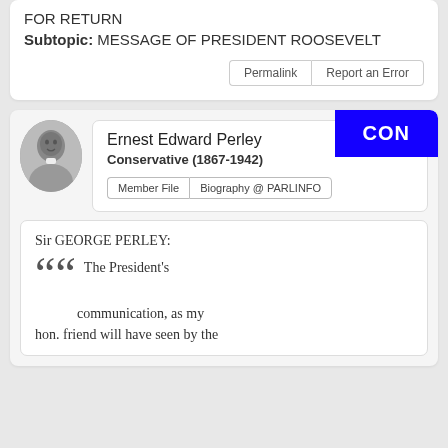FOR RETURN
Subtopic: MESSAGE OF PRESIDENT ROOSEVELT
Permalink
Report an Error
CON
Ernest Edward Perley
Conservative (1867-1942)
Member File
Biography @ PARLINFO
Sir GEORGE PERLEY:
The President's communication, as my hon. friend will have seen by the